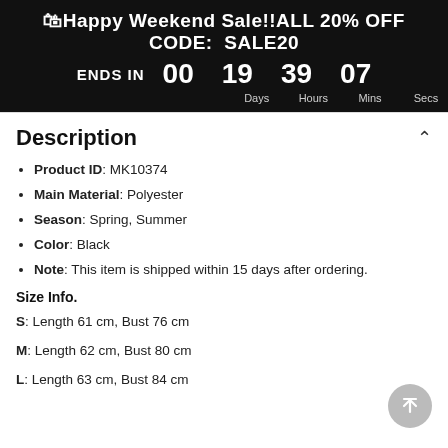🛍Happy Weekend Sale!!ALL 20% OFF CODE: SALE20 ENDS IN 00 Days 19 Hours 39 Mins 07 Secs
Description
Product ID: MK10374
Main Material: Polyester
Season: Spring, Summer
Color: Black
Note: This item is shipped within 15 days after ordering.
Size Info.
S: Length 61 cm, Bust 76 cm
M: Length 62 cm, Bust 80 cm
L: Length 63 cm, Bust 84 cm